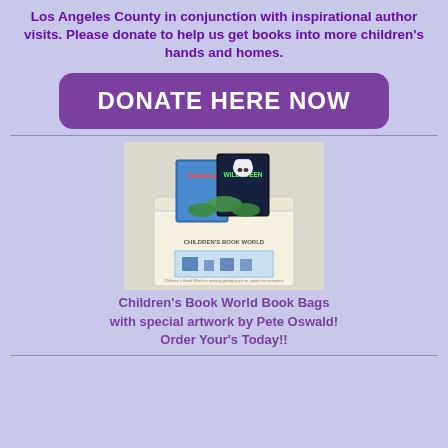Los Angeles County in conjunction with inspirational author visits. Please donate to help us get books into more children's hands and homes.
[Figure (other): Purple rounded rectangle button with white bold text reading DONATE HERE NOW]
[Figure (photo): Photo of a Children's Book World tote bag containing children's books including Stuntboy and Willodeen, with green ribbon/bow decoration]
Children's Book World Book Bags with special artwork by Pete Oswald! Order Your's Today!!